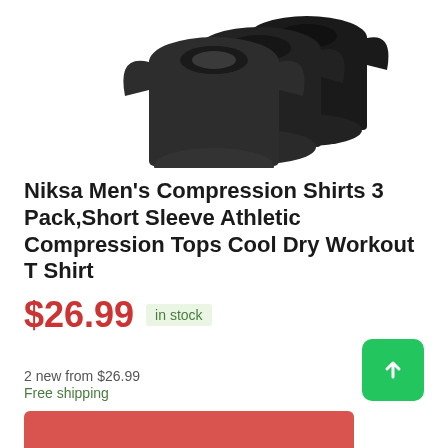[Figure (photo): Three black compression shirts displayed overlapping each other, showing short sleeve athletic compression tops in black color]
Niksa Men's Compression Shirts 3 Pack,Short Sleeve Athletic Compression Tops Cool Dry Workout T Shirt
$26.99  in stock
2 new from $26.99
Free shipping